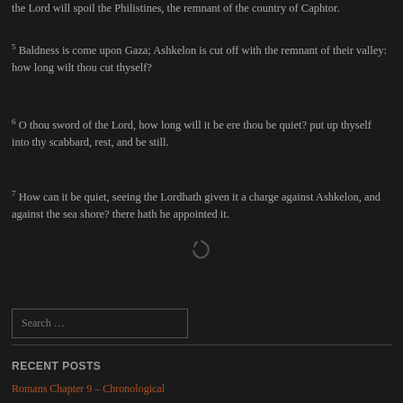the Lord will spoil the Philistines, the remnant of the country of Caphtor.
5 Baldness is come upon Gaza; Ashkelon is cut off with the remnant of their valley: how long wilt thou cut thyself?
6 O thou sword of the Lord, how long will it be ere thou be quiet? put up thyself into thy scabbard, rest, and be still.
7 How can it be quiet, seeing the Lordhath given it a charge against Ashkelon, and against the sea shore? there hath he appointed it.
[Figure (other): Loading spinner icon]
Search …
RECENT POSTS
Romans Chapter 9 – Chronological